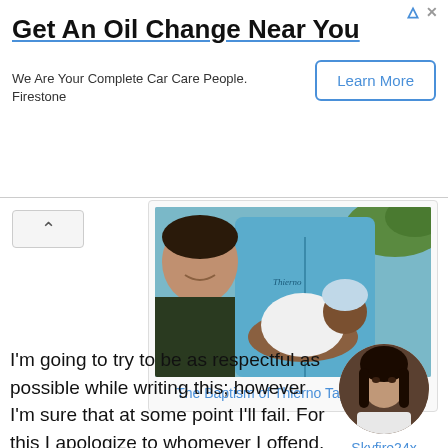[Figure (screenshot): Advertisement banner for Firestone oil change service with Learn More button]
Get An Oil Change Near You
We Are Your Complete Car Care People. Firestone
[Figure (photo): Photo of two people holding a newborn baby wrapped in white]
The Baptism of Thierno Taybou Balde
I'm going to try to be as respectful as possible while writing this; however I'm sure that at some point I'll fail. For this I apologize to whomever I offend. A year and half ago, if you asked me, I would have told you that hardline feminists
[Figure (photo): Round avatar photo of a young woman, username Skyfire24x]
Skyfire24x